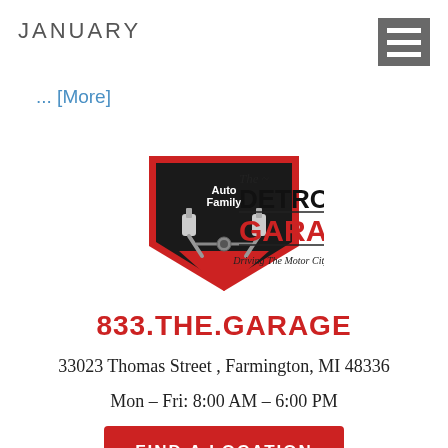JANUARY
... [More]
[Figure (logo): The Detroit Garage — Auto Family logo with shield containing crossed pistons, text 'The ~ DETROIT GARAGE Driving The Motor City']
833.THE.GARAGE
33023 Thomas Street , Farmington, MI 48336
Mon – Fri: 8:00 AM – 6:00 PM
FIND A LOCATION